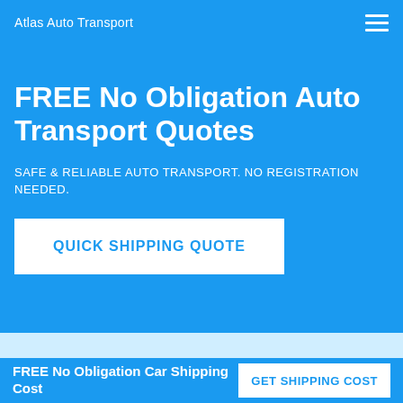Atlas Auto Transport
FREE No Obligation Auto Transport Quotes
SAFE & RELIABLE AUTO TRANSPORT. NO REGISTRATION NEEDED.
QUICK SHIPPING QUOTE
FREE No Obligation Car Shipping Cost
GET SHIPPING COST